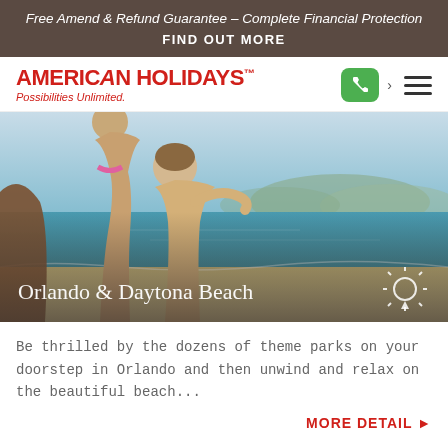Free Amend & Refund Guarantee – Complete Financial Protection
FIND OUT MORE
[Figure (logo): American Holidays logo with tagline 'Possibilities Unlimited.' and navigation icons including phone button, chevron, and hamburger menu]
[Figure (photo): Children playing at a beach scene with blue water and sky in background, overlaid with text 'Orlando & Daytona Beach' and a sun icon]
Be thrilled by the dozens of theme parks on your doorstep in Orlando and then unwind and relax on the beautiful beach...
MORE DETAIL ▶